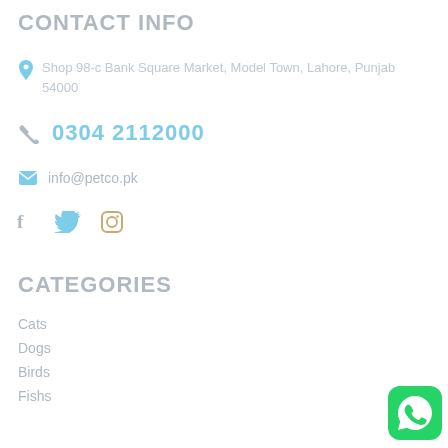CONTACT INFO
Shop 98-c Bank Square Market, Model Town, Lahore, Punjab 54000
0304 2112000
info@petco.pk
[Figure (other): Social media icons: Facebook, Twitter, Instagram]
CATEGORIES
Cats
Dogs
Birds
Fishs
[Figure (other): WhatsApp button icon (green circle with phone handset)]